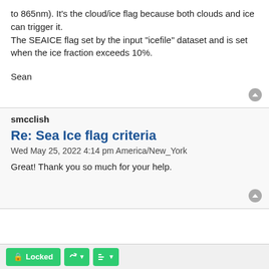to 865nm). It's the cloud/ice flag because both clouds and ice can trigger it.
The SEAICE flag set by the input "icefile" dataset and is set when the ice fraction exceeds 10%.
Sean
smcclish
Re: Sea Ice flag criteria
Wed May 25, 2022 4:14 pm America/New_York
Great! Thank you so much for your help.
Locked  [wrench]  [lines]